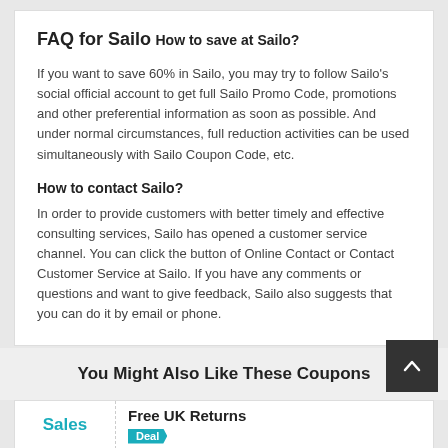FAQ for Sailo
How to save at Sailo?
If you want to save 60% in Sailo, you may try to follow Sailo's social official account to get full Sailo Promo Code, promotions and other preferential information as soon as possible. And under normal circumstances, full reduction activities can be used simultaneously with Sailo Coupon Code, etc.
How to contact Sailo?
In order to provide customers with better timely and effective consulting services, Sailo has opened a customer service channel. You can click the button of Online Contact or Contact Customer Service at Sailo. If you have any comments or questions and want to give feedback, Sailo also suggests that you can do it by email or phone.
You Might Also Like These Coupons
Free UK Returns
Sales
Deal